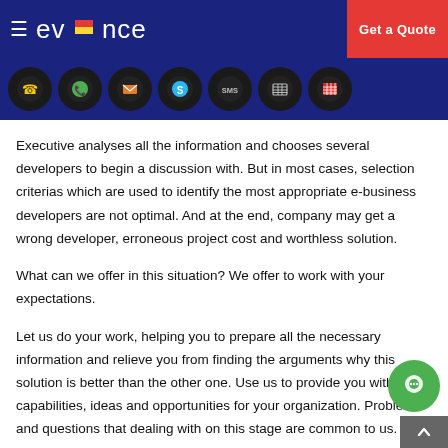evince — Get a Quote
[Figure (other): Navigation icons row: phone, WhatsApp, email, Skype, SMS, calendar, grid icons in dark circles on navy background]
Executive analyses all the information and chooses several developers to begin a discussion with. But in most cases, selection criterias which are used to identify the most appropriate e-business developers are not optimal. And at the end, company may get a wrong developer, erroneous project cost and worthless solution.
What can we offer in this situation? We offer to work with your expectations.
Let us do your work, helping you to prepare all the necessary information and relieve you from finding the arguments why this solution is better than the other one. Use us to provide you with new capabilities, ideas and opportunities for your organization. Problems and questions that dealing with on this stage are common to us. That is what we do best.